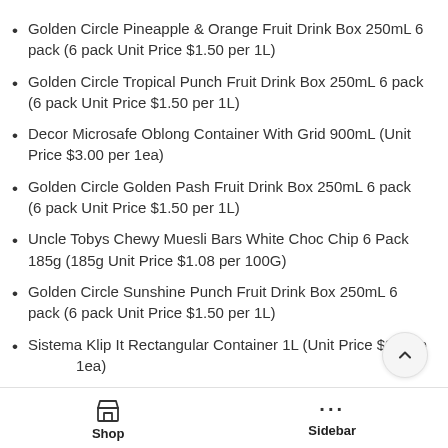Golden Circle Pineapple & Orange Fruit Drink Box 250mL 6 pack (6 pack Unit Price $1.50 per 1L)
Golden Circle Tropical Punch Fruit Drink Box 250mL 6 pack (6 pack Unit Price $1.50 per 1L)
Decor Microsafe Oblong Container With Grid 900mL (Unit Price $3.00 per 1ea)
Golden Circle Golden Pash Fruit Drink Box 250mL 6 pack (6 pack Unit Price $1.50 per 1L)
Uncle Tobys Chewy Muesli Bars White Choc Chip 6 Pack 185g (185g Unit Price $1.08 per 100G)
Golden Circle Sunshine Punch Fruit Drink Box 250mL 6 pack (6 pack Unit Price $1.50 per 1L)
Sistema Klip It Rectangular Container 1L (Unit Price $2.60 per 1ea)
Shop   Sidebar